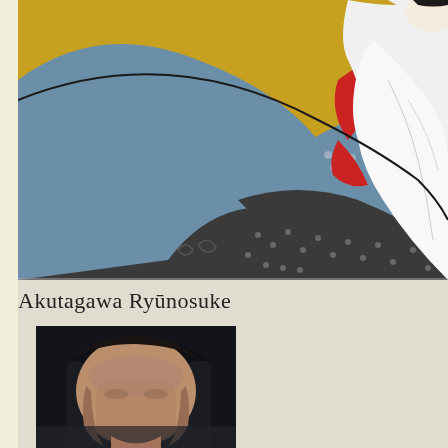[Figure (illustration): Japanese woodblock-style illustration showing a woman in traditional kimono with blue, golden-yellow, white, red, and grey-black patterned fabric. The figure is partially cropped, showing the upper body and face against a golden-yellow background.]
Akutagawa Ryūnosuke
[Figure (photo): Black and white or slightly colored photograph of a person's face and upper body, partially cropped, with dark hair.]